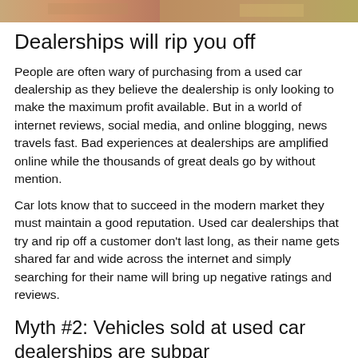[Figure (photo): Partial photo strip at top of page showing colorful scene]
Dealerships will rip you off
People are often wary of purchasing from a used car dealership as they believe the dealership is only looking to make the maximum profit available. But in a world of internet reviews, social media, and online blogging, news travels fast. Bad experiences at dealerships are amplified online while the thousands of great deals go by without mention.
Car lots know that to succeed in the modern market they must maintain a good reputation. Used car dealerships that try and rip off a customer don't last long, as their name gets shared far and wide across the internet and simply searching for their name will bring up negative ratings and reviews.
Myth #2: Vehicles sold at used car dealerships are subpar
A pervasive myyh is the idea of the “lemon”, the banger a used car dealership sells you that breaks down weeks or months later. On the contrary, the car that you buy from a used car dealership is significantly more likely to be a high quality choice.